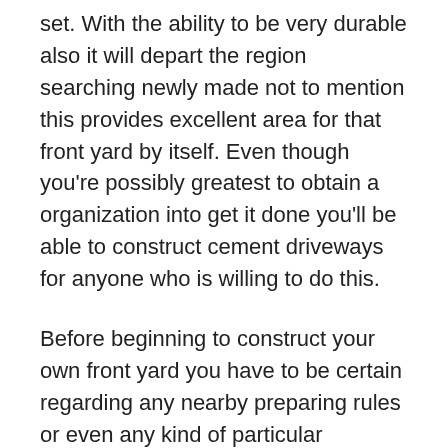set. With the ability to be very durable also it will depart the region searching newly made not to mention this provides excellent area for that front yard by itself. Even though you're possibly greatest to obtain a organization into get it done you'll be able to construct cement driveways for anyone who is willing to do this.
Before beginning to construct your own front yard you have to be certain regarding any nearby preparing rules or even any kind of particular guidelines which just utilize in your region particularly if you reside inside a town. For instance should you